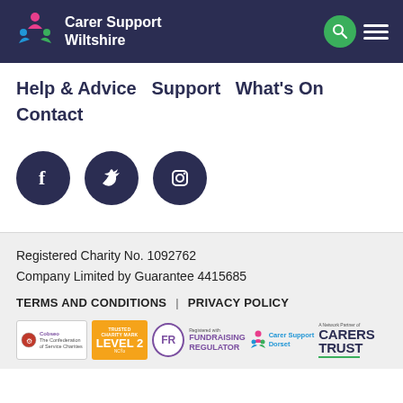Carer Support Wiltshire
Help & Advice  Support  What's On  Contact
[Figure (other): Social media icons: Facebook, Twitter, Instagram — dark navy circular buttons]
Registered Charity No. 1092762
Company Limited by Guarantee 4415685
TERMS AND CONDITIONS | PRIVACY POLICY
[Figure (other): Partner/accreditation logos: Cobseo, Trusted Charity Mark Level 2, Fundraising Regulator, Carer Support Dorset, Carers Trust network partner]